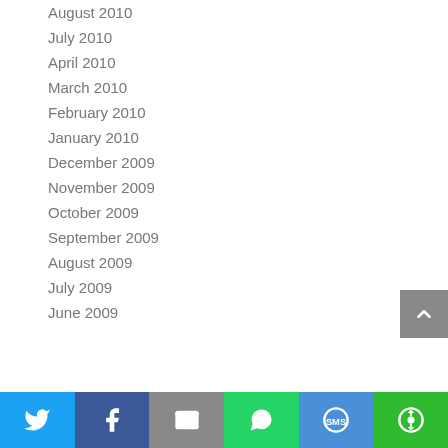August 2010
July 2010
April 2010
March 2010
February 2010
January 2010
December 2009
November 2009
October 2009
September 2009
August 2009
July 2009
June 2009
[Figure (infographic): Social share bar with Twitter, Facebook, Email, WhatsApp, SMS, and ShareThis buttons]